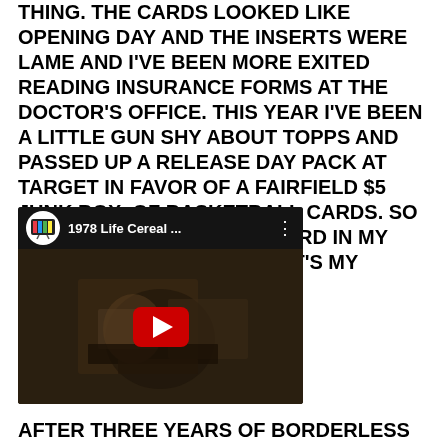THING. THE CARDS LOOKED LIKE OPENING DAY AND THE INSERTS WERE LAME AND I'VE BEEN MORE EXITED READING INSURANCE FORMS AT THE DOCTOR'S OFFICE. THIS YEAR I'VE BEEN A LITTLE GUN SHY ABOUT TOPPS AND PASSED UP A RELEASE DAY PACK AT TARGET IN FAVOR OF A FAIRFIELD $5 JUNK BOX. OF BASKETBALL CARDS. SO NOW THAT I HAVE A 2019 CARD IN MY GRUBBY LITTLE PAWS WHAT'S MY REACTION
[Figure (screenshot): YouTube video thumbnail showing '1978 Life Cereal ...' with a play button overlay on a dark scene of a child]
AFTER THREE YEARS OF BORDERLESS GARBAGE